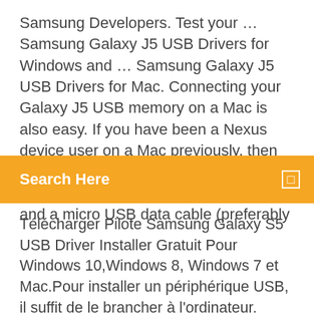Samsung Developers. Test your … Samsung Galaxy J5 USB Drivers for Windows and … Samsung Galaxy J5 USB Drivers for Mac. Connecting your Galaxy J5 USB memory on a Mac is also easy. If you have been a Nexus device user on a Mac previously, then this Galaxy J5 should be no different for you. Make sure you have a Galaxy J5 and a micro USB data cable (preferably
Search Here
Télécharger Pilote Samsung Galaxy S5 USB Driver Installer Gratuit Pour Windows 10,Windows 8, Windows 7 et Mac.Pour installer un périphérique USB, il suffit de le brancher à l'ordinateur. Certains périphériques USB sont dotés d'interrupteurs d'alimentation ... Centre de téléchargement | Samsung FR Clés USB; Libérez vos réunions. Samsung Flip. DÉCOUVRIR. Fermer le menu. Offres. Offres. #Restezchezvous; Offres Mobile; Offres Montre Connectée; Offre EDF & Samsung; Offre Etudiant Unidays ; Voir toutes les